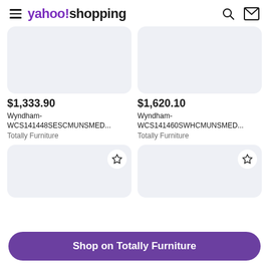yahoo!shopping
[Figure (screenshot): Product image placeholder (light gray rounded rectangle, top-left card)]
$1,333.90
Wyndham-WCS141448SESCMUNSMED...
Totally Furniture
[Figure (screenshot): Product image placeholder (light gray rounded rectangle, top-right card)]
$1,620.10
Wyndham-WCS141460SWHCMUNSMED...
Totally Furniture
[Figure (screenshot): Product image placeholder (light gray rounded rectangle, bottom-left card) with star/bookmark icon]
[Figure (screenshot): Product image placeholder (light gray rounded rectangle, bottom-right card) with star/bookmark icon]
Shop on Totally Furniture